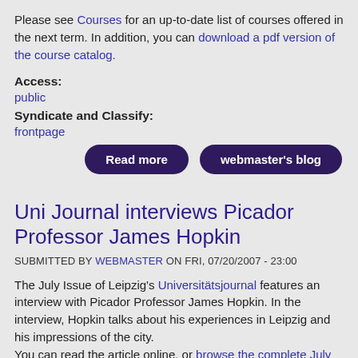Please see Courses for an up-to-date list of courses offered in the next term. In addition, you can download a pdf version of the course catalog.
Access:
public
Syndicate and Classify:
frontpage
[Figure (other): Two dark purple rounded buttons labeled 'Read more' and 'webmaster's blog']
Uni Journal interviews Picador Professor James Hopkin
SUBMITTED BY WEBMASTER ON FRI, 07/20/2007 - 23:00
The July Issue of Leipzig's Universitätsjournal features an interview with Picador Professor James Hopkin. In the interview, Hopkin talks about his experiences in Leipzig and his impressions of the city. You can read the article online, or browse the complete July issue of the magazine.